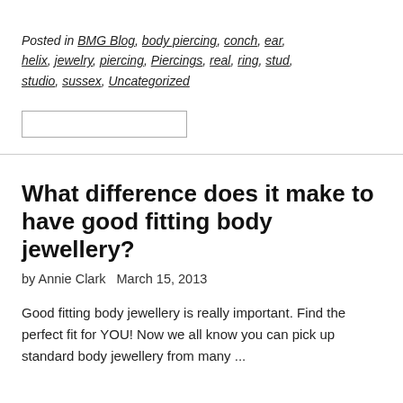Posted in BMG Blog, body piercing, conch, ear, helix, jewelry, piercing, Piercings, real, ring, stud, studio, sussex, Uncategorized
What difference does it make to have good fitting body jewellery?
by Annie Clark   March 15, 2013
Good fitting body jewellery is really important. Find the perfect fit for YOU! Now we all know you can pick up standard body jewellery from many ...